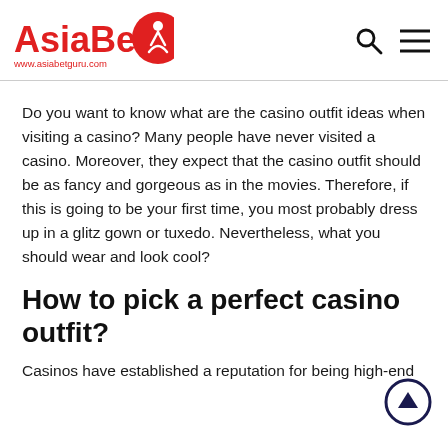AsiaBet www.asiabetguru.com
Do you want to know what are the casino outfit ideas when visiting a casino? Many people have never visited a casino. Moreover, they expect that the casino outfit should be as fancy and gorgeous as in the movies. Therefore, if this is going to be your first time, you most probably dress up in a glitz gown or tuxedo. Nevertheless, what you should wear and look cool?
How to pick a perfect casino outfit?
Casinos have established a reputation for being high-end